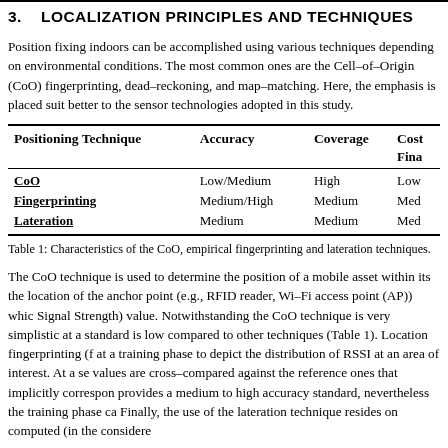3. LOCALIZATION PRINCIPLES AND TECHNIQUES
Position fixing indoors can be accomplished using various techniques depending on environmental conditions. The most common ones are the Cell–of–Origin (CoO) fingerprinting, dead–reckoning, and map–matching. Here, the emphasis is placed suit better to the sensor technologies adopted in this study.
| Positioning Technique | Accuracy | Coverage | Cost | Fina |
| --- | --- | --- | --- | --- |
| CoO | Low/Medium | High | Low |
| Fingerprinting | Medium/High | Medium | Med |
| Lateration | Medium | Medium | Med |
Table 1: Characteristics of the CoO, empirical fingerprinting and lateration techniques.
The CoO technique is used to determine the position of a mobile asset within its the location of the anchor point (e.g., RFID reader, Wi–Fi access point (AP)) whic Signal Strength) value. Notwithstanding the CoO technique is very simplistic at a standard is low compared to other techniques (Table 1). Location fingerprinting (f at a training phase to depict the distribution of RSSI at an area of interest. At a se values are cross–compared against the reference ones that implicitly correspon provides a medium to high accuracy standard, nevertheless the training phase ca Finally, the use of the lateration technique resides on computed (in the considere